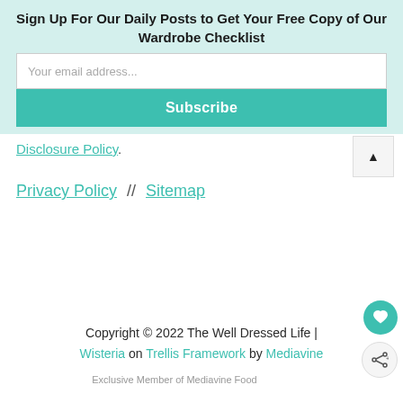Sign Up For Our Daily Posts to Get Your Free Copy of Our Wardrobe Checklist
Your email address...
Subscribe
Disclosure Policy.
Privacy Policy  //  Sitemap
Copyright © 2022 The Well Dressed Life | Wisteria on Trellis Framework by Mediavine
Exclusive Member of Mediavine Food